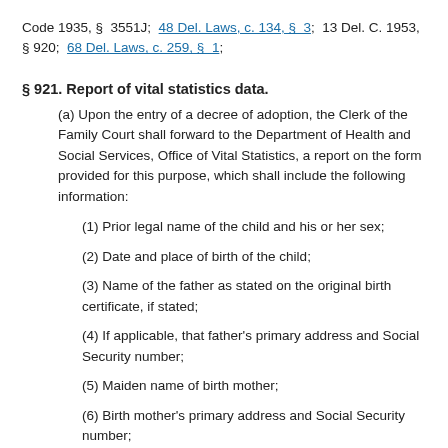Code 1935, §  3551J;  48 Del. Laws, c. 134, §  3;  13 Del. C. 1953, § 920;  68 Del. Laws, c. 259, §  1;
§ 921. Report of vital statistics data.
(a) Upon the entry of a decree of adoption, the Clerk of the Family Court shall forward to the Department of Health and Social Services, Office of Vital Statistics, a report on the form provided for this purpose, which shall include the following information:
(1) Prior legal name of the child and his or her sex;
(2) Date and place of birth of the child;
(3) Name of the father as stated on the original birth certificate, if stated;
(4) If applicable, that father's primary address and Social Security number;
(5) Maiden name of birth mother;
(6) Birth mother's primary address and Social Security number;
(7) Child's name after adoption;
(8) Name of adoptive father, place and date of his birth, and his